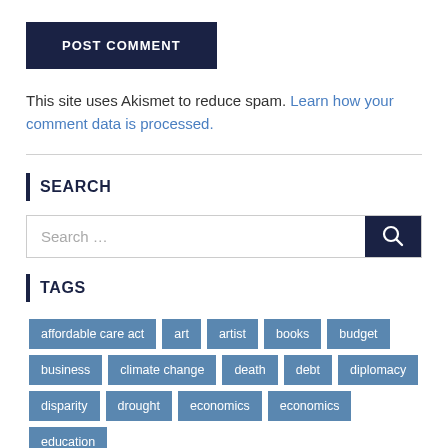POST COMMENT
This site uses Akismet to reduce spam. Learn how your comment data is processed.
SEARCH
Search ...
TAGS
affordable care act
art
artist
books
budget
business
climate change
death
debt
diplomacy
disparity
drought
economics
economics
education